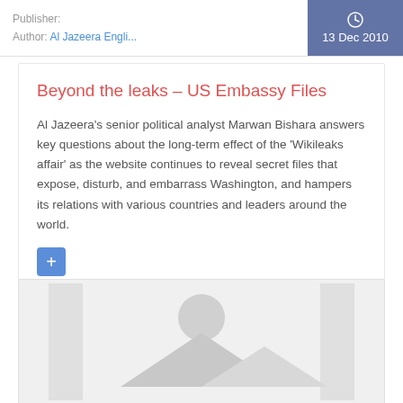Publisher:
Author: Al Jazeera Engli...
13 Dec 2010
Beyond the leaks – US Embassy Files
Al Jazeera's senior political analyst Marwan Bishara answers key questions about the long-term effect of the 'Wikileaks affair' as the website continues to reveal secret files that expose, disturb, and embarrass Washington, and hampers its relations with various countries and leaders around the world.
Tags:  wikileaks aftermath
[Figure (other): Thumbs up icon with count 0]
[Figure (other): Thumbs down icon with count 0]
[Figure (photo): Placeholder image with mountain/landscape icon]